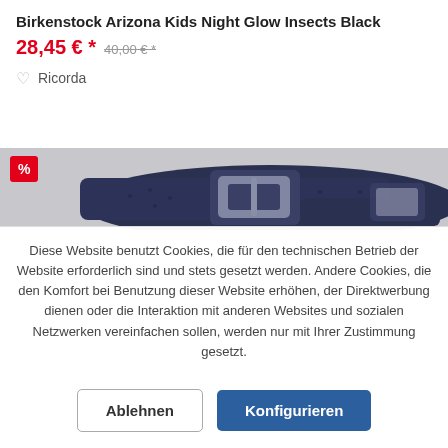Birkenstock Arizona Kids Night Glow Insects Black
28,45 € * 40,00 € *
Ricorda
[Figure (photo): Photo of dark navy blue Birkenstock sandal with buckle straps, partially cropped. Red percent badge in top-left corner.]
Diese Website benutzt Cookies, die für den technischen Betrieb der Website erforderlich sind und stets gesetzt werden. Andere Cookies, die den Komfort bei Benutzung dieser Website erhöhen, der Direktwerbung dienen oder die Interaktion mit anderen Websites und sozialen Netzwerken vereinfachen sollen, werden nur mit Ihrer Zustimmung gesetzt.
Ablehnen
Konfigurieren